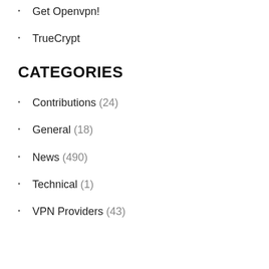Get Openvpn!
TrueCrypt
CATEGORIES
Contributions (24)
General (18)
News (490)
Technical (1)
VPN Providers (43)